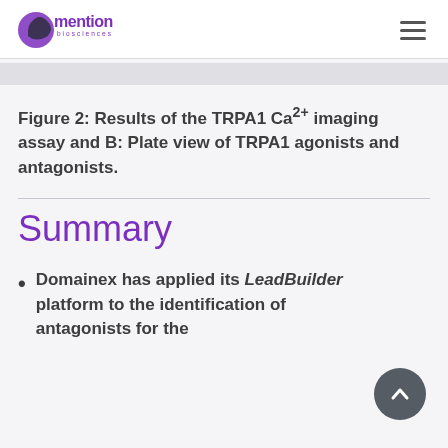mention biosciences
Figure 2: Results of the TRPA1 Ca2+ imaging assay and B: Plate view of TRPA1 agonists and antagonists.
Summary
Domainex has applied its LeadBuilder platform to the identification of antagonists for the